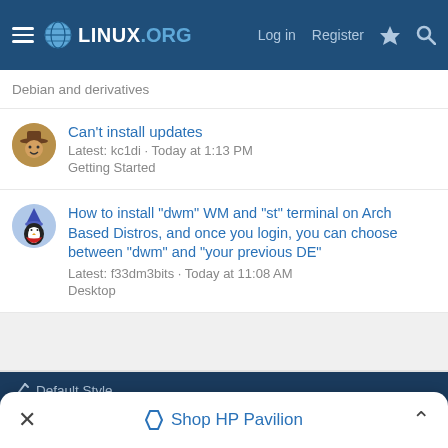LINUX.ORG — Log in  Register
Debian and derivatives
Can't install updates
Latest: kc1di · Today at 1:13 PM
Getting Started
How to install "dwm" WM and "st" terminal on Arch Based Distros, and once you login, you can choose between "dwm" and "your previous DE"
Latest: f33dm3bits · Today at 11:08 AM
Desktop
< Ubuntu forum
✏ Default Style
Contact us  Terms and rules  Privacy policy  Help
✕  Shop HP Pavilion  ∧